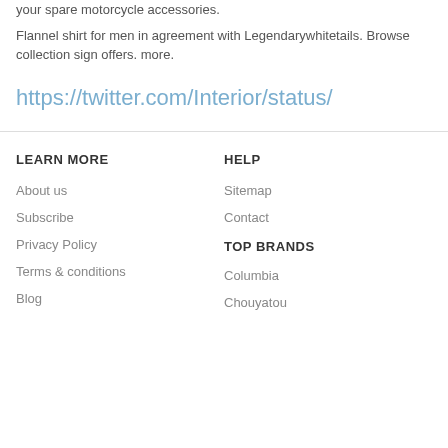your spare motorcycle accessories.
Flannel shirt for men in agreement with Legendarywhitetails. Browse collection sign offers. more.
https://twitter.com/Interior/status/
LEARN MORE
About us
Subscribe
Privacy Policy
Terms & conditions
Blog
HELP
Sitemap
Contact
TOP BRANDS
Columbia
Chouyatou